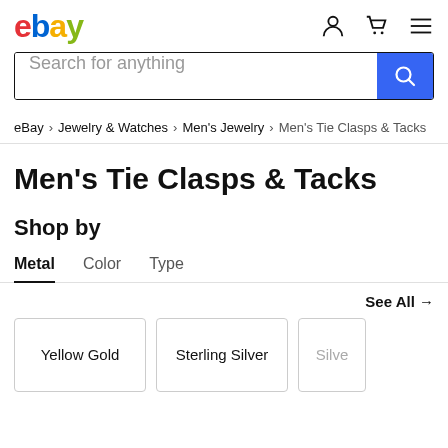[Figure (logo): eBay logo in red, blue, yellow, green]
[Figure (screenshot): Search bar with text 'Search for anything' and blue search button]
eBay > Jewelry & Watches > Men's Jewelry > Men's Tie Clasps & Tacks
Men's Tie Clasps & Tacks
Shop by
Metal   Color   Type
See All →
Yellow Gold
Sterling Silver
Silve